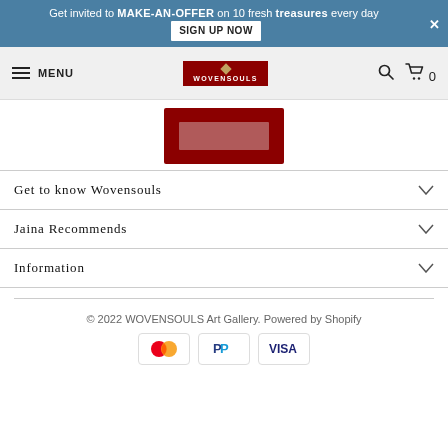Get invited to MAKE-AN-OFFER on 10 fresh treasures every day   SIGN UP NOW   ×
MENU   WOVENSOULS   🔍   🛒 0
[Figure (photo): Partial view of a dark red framed artwork/rug displayed on a product page]
Get to know Wovensouls
Jaina Recommends
Information
© 2022 WOVENSOULS Art Gallery. Powered by Shopify
[Figure (logo): Payment icons: Mastercard, PayPal, Visa]